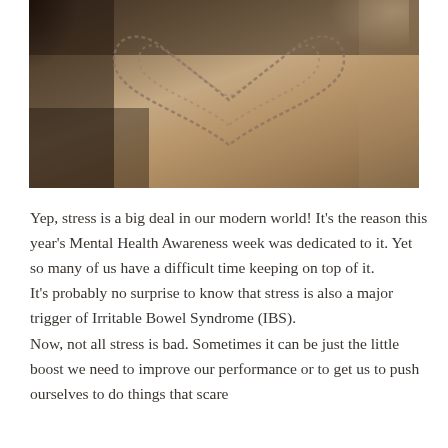[Figure (photo): Heart shape drawn in sand on a beach, warm sepia tones with shadowy edges, viewed from above]
Yep, stress is a big deal in our modern world! It’s the reason this year’s Mental Health Awareness week was dedicated to it. Yet so many of us have a difficult time keeping on top of it.
It’s probably no surprise to know that stress is also a major trigger of Irritable Bowel Syndrome (IBS).
Now, not all stress is bad. Sometimes it can be just the little boost we need to improve our performance or to get us to push ourselves to do things that scare